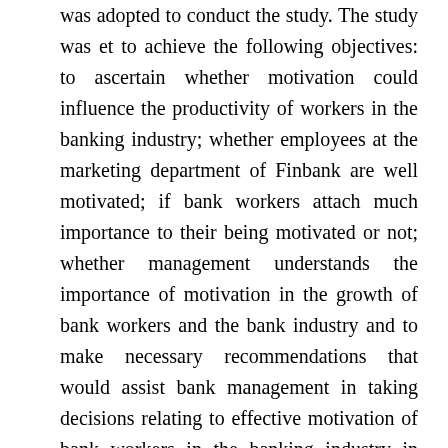was adopted to conduct the study. The study was et to achieve the following objectives: to ascertain whether motivation could influence the productivity of workers in the banking industry; whether employees at the marketing department of Finbank are well motivated; if bank workers attach much importance to their being motivated or not; whether management understands the importance of motivation in the growth of bank workers and the bank industry and to make necessary recommendations that would assist bank management in taking decisions relating to effective motivation of bank workers in the banking industry in general and marketing department in particular. Two hypotheses were postulated following some research questions. Purpose sampling method was